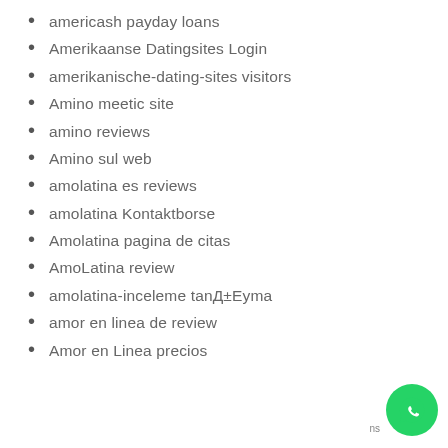americash payday loans
Amerikaanse Datingsites Login
amerikanische-dating-sites visitors
Amino meetic site
amino reviews
Amino sul web
amolatina es reviews
amolatina Kontaktborse
Amolatina pagina de citas
AmoLatina review
amolatina-inceleme tanД±Eуma
amor en linea de review
Amor en Linea precios